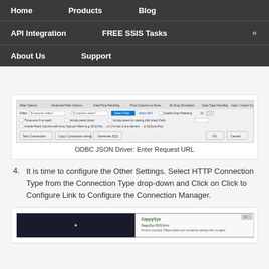Home   Products   Blog   API Integration   FREE SSIS Tasks   About Us   Support
[Figure (screenshot): ODBC JSON Driver filter options dialog with tabs: Filter Options, Advanced Filter Options, Date/Time Handling, Pivot Columns to Rows, JS Array Simulation, Data Type Handling, Input/Output Format. Shows fields for Filter, checkboxes, and buttons: Test Connection, Copy Connection string, Generate SQL, OK, Cancel.]
ODBC JSON Driver: Enter Request URL
It is time to configure the Other Settings. Select HTTP Connection Type from the Connection Type drop-down and Click on Click to Configure Link to Configure the Connection Manager.
[Figure (screenshot): Bottom partial screenshot showing a dark interface with ZappySys branding and some dialog or error content.]